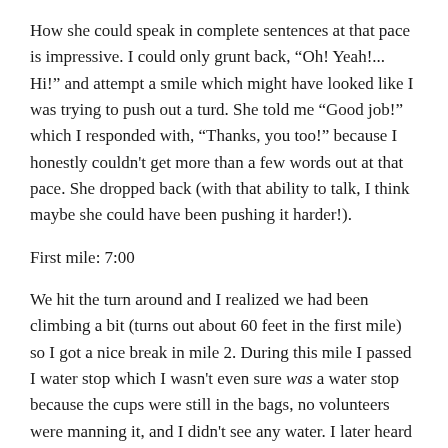How she could speak in complete sentences at that pace is impressive. I could only grunt back, “Oh! Yeah!... Hi!” and attempt a smile which might have looked like I was trying to push out a turd. She told me “Good job!” which I responded with, “Thanks, you too!” because I honestly couldn't get more than a few words out at that pace. She dropped back (with that ability to talk, I think maybe she could have been pushing it harder!).
First mile: 7:00
We hit the turn around and I realized we had been climbing a bit (turns out about 60 feet in the first mile) so I got a nice break in mile 2. During this mile I passed I water stop which I wasn't even sure was a water stop because the cups were still in the bags, no volunteers were manning it, and I didn't see any water. I later heard from a fellow SDTC runner that it was “self serve” with a line. Not really acceptable.